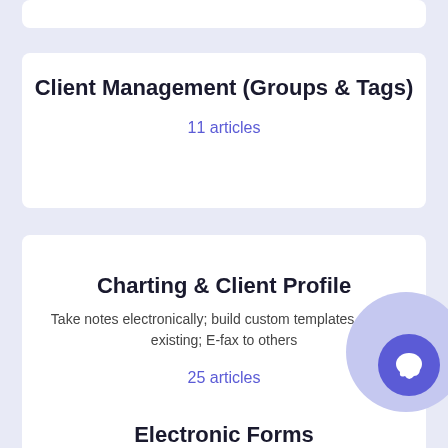Client Management (Groups & Tags)
11 articles
Charting & Client Profile
Take notes electronically; build custom templates or use existing; E-fax to others
25 articles
Electronic Forms